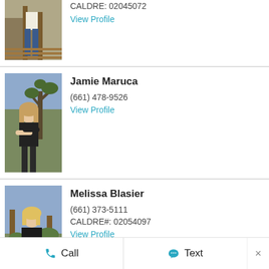[Figure (photo): Partial photo of a person standing on a wooden walkway, wearing jeans and white top]
CALDRE: 02045072
View Profile
[Figure (photo): Photo of Jamie Maruca standing outdoors near a large Joshua tree, smiling, wearing a black top]
Jamie Maruca
(661) 478-9526
View Profile
[Figure (photo): Photo of Melissa Blasier standing outdoors near a wooden post, wearing black top and jeans]
Melissa Blasier
(661) 373-5111
CALDRE#: 02054097
View Profile
Call   Text   ×